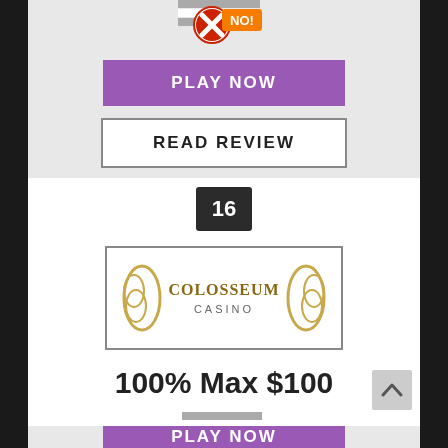[Figure (infographic): US flag icon with red X and orange NO! badge overlay]
[Figure (infographic): PLAY NOW button - purple rectangle]
[Figure (infographic): READ REVIEW button - white rectangle with border]
16
[Figure (logo): Colosseum Casino logo - gold laurel wreath with casino name]
100% Max $100
[Figure (infographic): US flag icon with red X and orange NO! badge overlay]
[Figure (infographic): PLAY NOW button - purple rectangle (partially visible)]